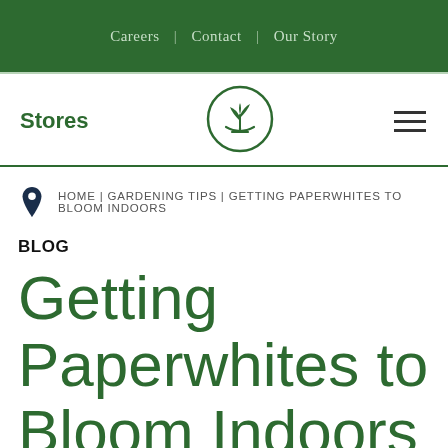Careers | Contact | Our Story
Stores
[Figure (logo): Circular logo with a plant/seedling growing from a bowl, in dark green outline style]
≡
HOME | GARDENING TIPS | GETTING PAPERWHITES TO BLOOM INDOORS
BLOG
Getting Paperwhites to Bloom Indoors